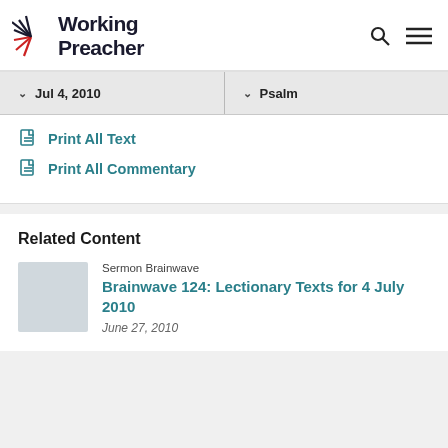Working Preacher
Jul 4, 2010 | Psalm
Print All Text
Print All Commentary
Related Content
Sermon Brainwave
Brainwave 124: Lectionary Texts for 4 July 2010
June 27, 2010